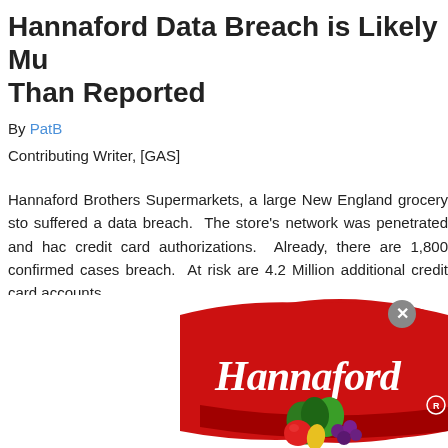Hannaford Data Breach is Likely Mu Than Reported
By PatB
Contributing Writer, [GAS]
Hannaford Brothers Supermarkets, a large New England grocery sto suffered a data breach. The store's network was penetrated and hac credit card authorizations. Already, there are 1,800 confirmed cases breach. At risk are 4.2 Million additional credit card accounts.
[Figure (logo): Hannaford Brothers Supermarkets logo — red banner with 'Hannaford' text and produce illustration]